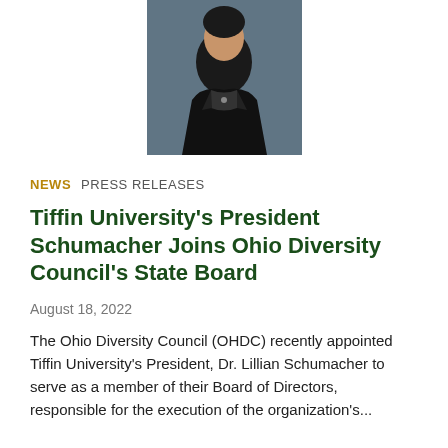[Figure (photo): Professional headshot of Dr. Lillian Schumacher, a woman in a dark blazer against a blurred blue-grey background]
NEWS  PRESS RELEASES
Tiffin University's President Schumacher Joins Ohio Diversity Council's State Board
August 18, 2022
The Ohio Diversity Council (OHDC) recently appointed Tiffin University's President, Dr. Lillian Schumacher to serve as a member of their Board of Directors, responsible for the execution of the organization's...